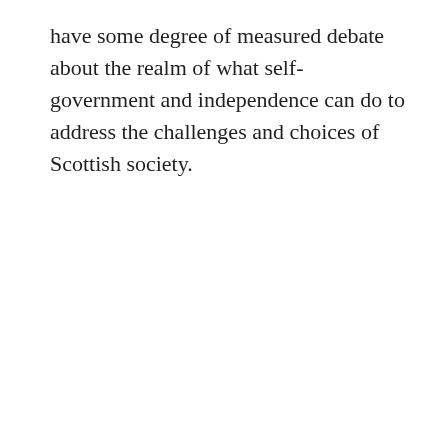have some degree of measured debate about the realm of what self-government and independence can do to address the challenges and choices of Scottish society.